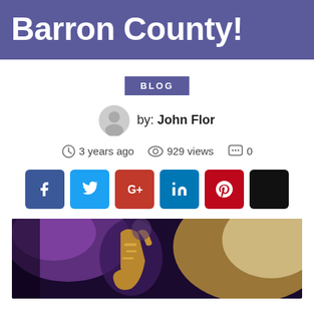Barron County!
BLOG
by: John Flor
3 years ago   929 views   0
[Figure (photo): Musician playing saxophone under warm stage lighting with purple stage lights and golden glow in background]